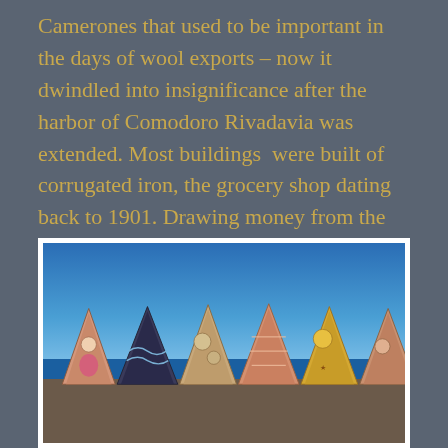Camerones that used to be important in the days of wool exports – now it dwindled into insignificance after the harbor of Comodoro Rivadavia was extended. Most buildings  were built of corrugated iron, the grocery shop dating back to 1901. Drawing money from the ATM here was impossible – empty.
[Figure (photo): Outdoor photograph showing a clear blue sky and a row of colorful painted sculptural boat bows or decorative wooden structures along a waterfront, with water and shore visible in the background.]